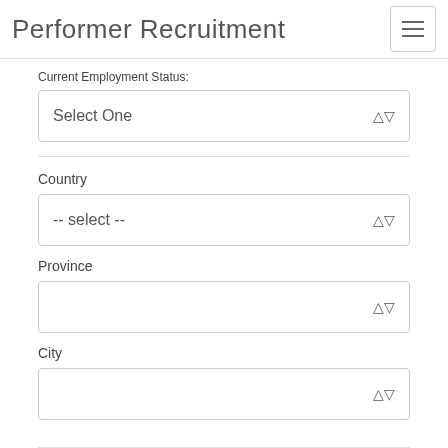Performer Recruitment
Current Employment Status:
Select One
Country
-- select --
Province
City